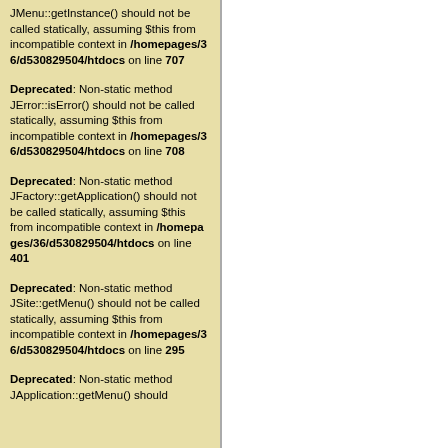JMenu::getInstance() should not be called statically, assuming $this from incompatible context in /homepages/36/d530829504/htdocs on line 707
Deprecated: Non-static method JError::isError() should not be called statically, assuming $this from incompatible context in /homepages/36/d530829504/htdocs on line 708
Deprecated: Non-static method JFactory::getApplication() should not be called statically, assuming $this from incompatible context in /homepages/36/d530829504/htdocs on line 401
Deprecated: Non-static method JSite::getMenu() should not be called statically, assuming $this from incompatible context in /homepages/36/d530829504/htdocs on line 295
Deprecated: Non-static method JApplication::getMenu() should